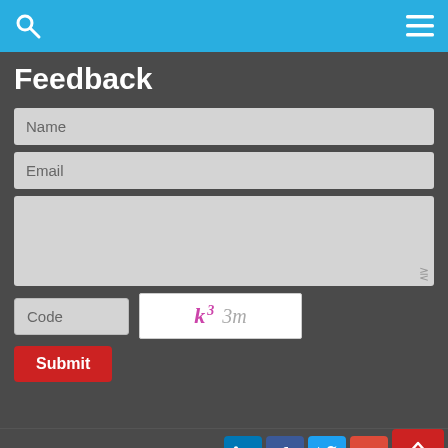Search | Menu
Feedback
Name
Email
(message textarea)
Code  [captcha: k3 3m]  Submit
Follows Us
Products  Email  Order  Share  Top